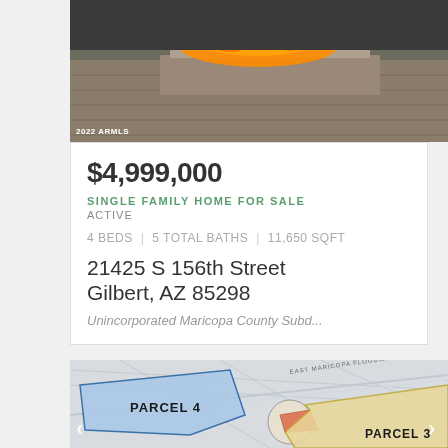[Figure (photo): Interior photo showing a modern fireplace with long horizontal flame, wooden deck or floor surface visible, watermark '2022 ARMLS' in lower left]
$4,999,000
SINGLE FAMILY HOME FOR SALE
ACTIVE
4 BEDS | 5 TOTAL BATHS | 11,650 SQFT
21425 S 156th Street
Gilbert, AZ 85298
Unincorporated Maricopa County Subd...
[Figure (map): Parcel map showing PARCEL 4 highlighted in blue and PARCEL 3 highlighted in yellow/tan, with road lines and survey markings. Label 'EAST MARICOPA FLOODWAY' visible at top.]